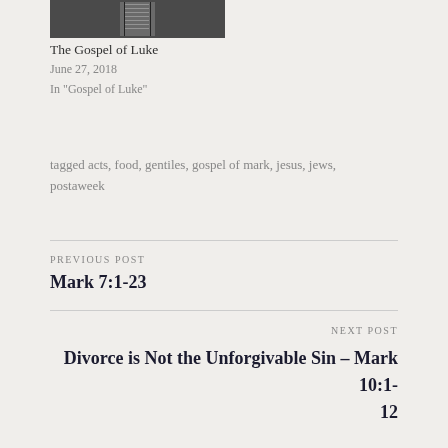[Figure (photo): Partial image of an open Bible book]
The Gospel of Luke
June 27, 2018
In "Gospel of Luke"
tagged acts, food, gentiles, gospel of mark, jesus, jews, postaweek
PREVIOUS POST
Mark 7:1-23
NEXT POST
Divorce is Not the Unforgivable Sin – Mark 10:1-12